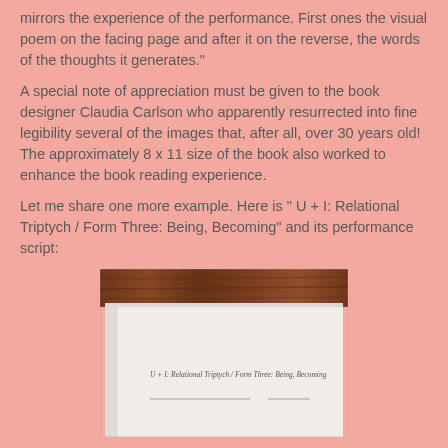mirrors the experience of the performance. First ones the visual poem on the facing page and after it on the reverse, the words of the thoughts it generates."
A special note of appreciation must be given to the book designer Claudia Carlson who apparently resurrected into fine legibility several of the images that, after all, over 30 years old!  The approximately 8 x 11 size of the book also worked to enhance the book reading experience.
Let me share one more example.  Here is " U + I: Relational Triptych / Form Three: Being, Becoming" and its performance script:
[Figure (photo): A photograph of an open book showing a page with the title 'U + I: Relational Triptych / Form Three: Being, Becoming' printed in italic text. The book is lying on a wooden surface visible at the top of the photo.]